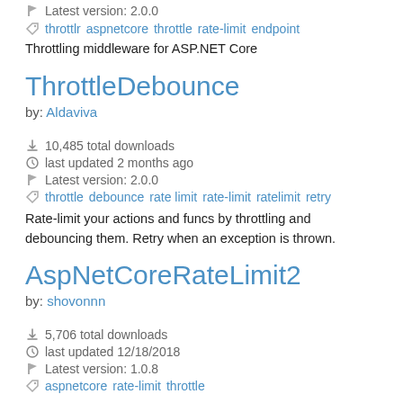Latest version: 2.0.0
throttlr aspnetcore throttle rate-limit endpoint
Throttling middleware for ASP.NET Core
ThrottleDebounce
by: Aldaviva
10,485 total downloads
last updated 2 months ago
Latest version: 2.0.0
throttle debounce rate limit rate-limit ratelimit retry
Rate-limit your actions and funcs by throttling and debouncing them. Retry when an exception is thrown.
AspNetCoreRateLimit2
by: shovonnn
5,706 total downloads
last updated 12/18/2018
Latest version: 1.0.8
aspnetcore rate-limit throttle